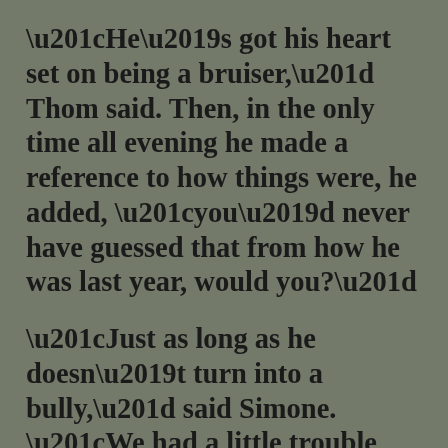“He’s got his heart set on being a bruiser,” Thom said. Then, in the only time all evening he made a reference to how things were, he added, “you’d never have guessed that from how he was last year, would you?”
“Just as long as he doesn’t turn into a bully,” said Simone. “We had a little trouble with that already with Cody.”
I didn’t say anything, but I thought that maybe I could help out with that when I came over to play catch with him. I think I did Lucas some good with that by taking him to El Tigre’s. I didn’t want to get into another whole discussion about my toxic masculinity, even if